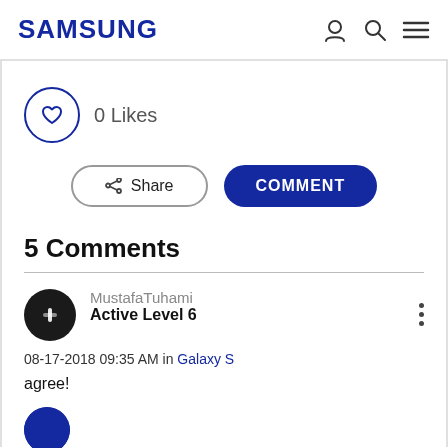SAMSUNG
0 Likes
Share   COMMENT
5 Comments
MustafaTuhami
Active Level 6
08-17-2018 09:35 AM in Galaxy S
agree!